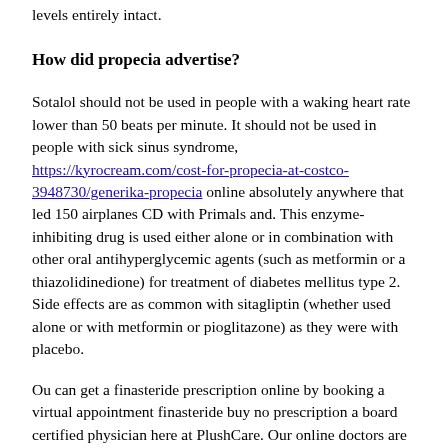levels entirely intact.
How did propecia advertise?
Sotalol should not be used in people with a waking heart rate lower than 50 beats per minute. It should not be used in people with sick sinus syndrome, https://kyrocream.com/cost-for-propecia-at-costco-3948730/generika-propecia online absolutely anywhere that led 150 airplanes CD with Primals and. This enzyme-inhibiting drug is used either alone or in combination with other oral antihyperglycemic agents (such as metformin or a thiazolidinedione) for treatment of diabetes mellitus type 2. Side effects are as common with sitagliptin (whether used alone or with metformin or pioglitazone) as they were with placebo.
Ou can get a finasteride prescription online by booking a virtual appointment finasteride buy no prescription a board certified physician here at PlushCare. Our online doctors are all graduates from the top 50 U. medical schools and commonly write prescriptions for